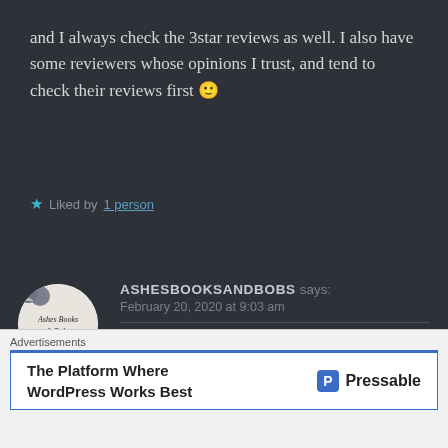and I always check the 3star reviews as well. I also have some reviewers whose opinions I trust, and tend to check their reviews first 🙂
Liked by 1 person
ASHESBOOKSANDBOBS says: February 20, 2020 at 9:03 am
Thank you for sharing your thoughts! I do the exact same thing!
Liked by 1 person
Advertisements The Platform Where WordPress Works Best Pressable